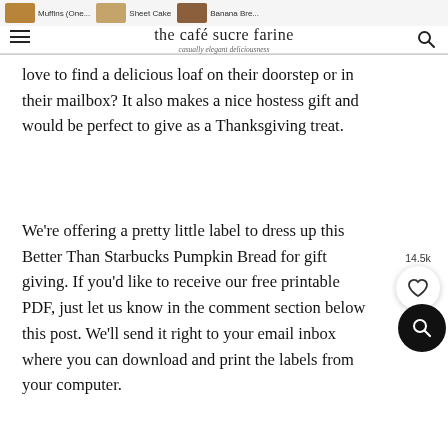the café sucre farine — casually elegant deliciousness
love to find a delicious loaf on their doorstep or in their mailbox? It also makes a nice hostess gift and would be perfect to give as a Thanksgiving treat.
We're offering a pretty little label to dress up this Better Than Starbucks Pumpkin Bread for gift giving. If you'd like to receive our free printable PDF, just let us know in the comment section below this post. We'll send it right to your email inbox where you can download and print the labels from your computer.